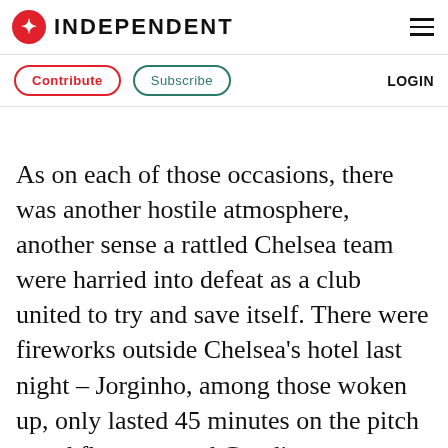INDEPENDENT
Contribute | Subscribe | LOGIN
As on each of those occasions, there was another hostile atmosphere, another sense a rattled Chelsea team were harried into defeat as a club united to try and save itself. There were fireworks outside Chelsea's hotel last night – Jorginho, among those woken up, only lasted 45 minutes on the pitch – and flares around Goodison, shrouding the surroundings